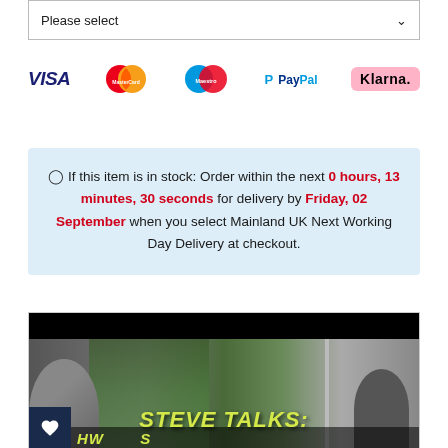[Figure (screenshot): Dropdown selector showing 'Please select' with chevron]
[Figure (logo): Payment method logos: VISA, MasterCard, Maestro, PayPal, Klarna]
If this item is in stock: Order within the next 0 hours, 13 minutes, 30 seconds for delivery by Friday, 02 September when you select Mainland UK Next Working Day Delivery at checkout.
[Figure (screenshot): Video thumbnail showing 'STEVE TALKS' with a heart favourite button and a play button overlay]